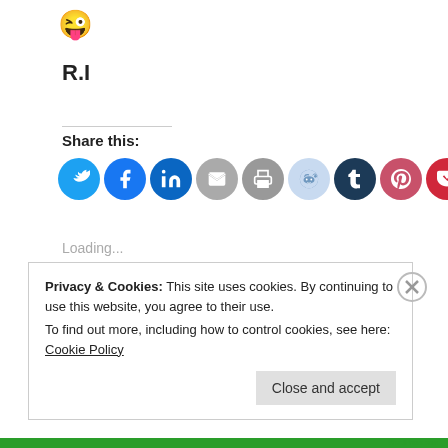[Figure (illustration): Emoji face sticking out tongue with winking expression]
R.I
Share this:
[Figure (infographic): Row of social share buttons: Twitter (blue), Facebook (blue), LinkedIn (dark blue), Email (gray), Print (gray), Reddit (light blue/gray), Tumblr (dark navy), Pinterest (red/pink), Pocket (red)]
Loading...
Privacy & Cookies: This site uses cookies. By continuing to use this website, you agree to their use.
To find out more, including how to control cookies, see here: Cookie Policy
Close and accept